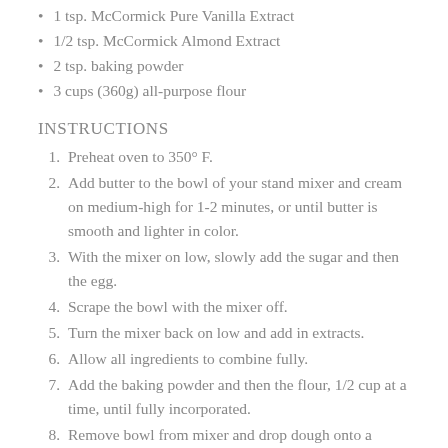1 tsp. McCormick Pure Vanilla Extract
1/2 tsp. McCormick Almond Extract
2 tsp. baking powder
3 cups (360g) all-purpose flour
INSTRUCTIONS
Preheat oven to 350° F.
Add butter to the bowl of your stand mixer and cream on medium-high for 1-2 minutes, or until butter is smooth and lighter in color.
With the mixer on low, slowly add the sugar and then the egg.
Scrape the bowl with the mixer off.
Turn the mixer back on low and add in extracts.
Allow all ingredients to combine fully.
Add the baking powder and then the flour, 1/2 cup at a time, until fully incorporated.
Remove bowl from mixer and drop dough onto a floured countertop. Roll out into a flat disc, about 1/2 inch thick.